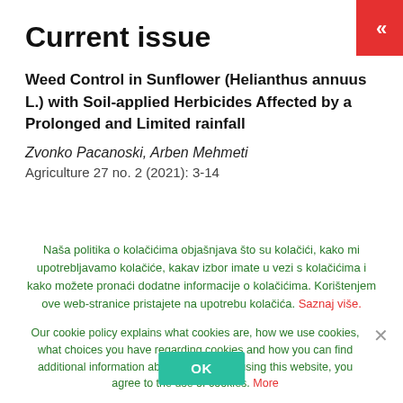Current issue
Weed Control in Sunflower (Helianthus annuus L.) with Soil-applied Herbicides Affected by a Prolonged and Limited rainfall
Zvonko Pacanoski, Arben Mehmeti
Agriculture 27 no. 2 (2021): 3-14
Naša politika o kolačićima objašnjava što su kolačići, kako mi upotrebljavamo kolačiće, kakav izbor imate u vezi s kolačićima i kako možete pronaći dodatne informacije o kolačićima. Korištenjem ove web-stranice pristajete na upotrebu kolačića. Saznaj više.
Our cookie policy explains what cookies are, how we use cookies, what choices you have regarding cookies and how you can find additional information about cookies. By using this website, you agree to the use of cookies. More